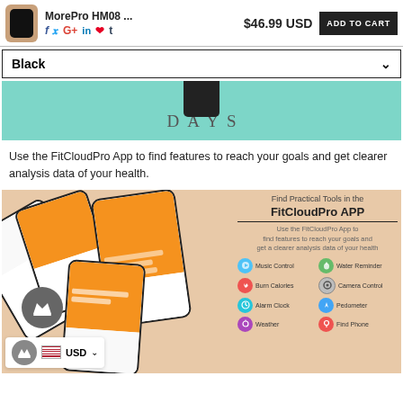MorePro HM08 ... $46.99 USD ADD TO CART
Black
[Figure (screenshot): Teal banner showing DAYS text with a smartwatch top portion visible]
Use the FitCloudPro App to find features to reach your goals and get clearer analysis data of your health.
[Figure (infographic): FitCloudPro App promotional banner showing multiple smartphones with orange app screens and feature icons: Music Control, Water Reminder, Burn Calories, Camera Control, Alarm Clock, Pedometer, Weather, Find Phone]
USD